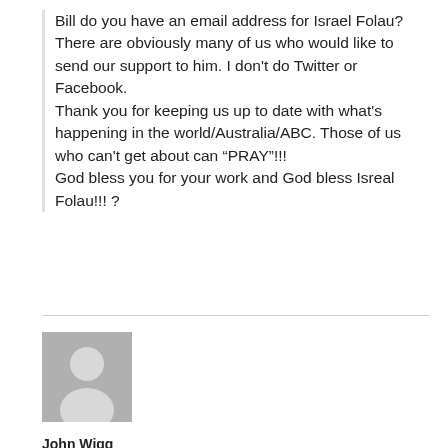Bill do you have an email address for Israel Folau? There are obviously many of us who would like to send our support to him. I don't do Twitter or Facebook.
Thank you for keeping us up to date with what's happening in the world/Australia/ABC. Those of us who can't get about can “PRAY”!!!
God bless you for your work and God bless Isreal Folau!!! ?
[Figure (illustration): Generic grey avatar silhouette placeholder image for a user profile photo]
John Wigg
May 14, 2018 at 10:41 am